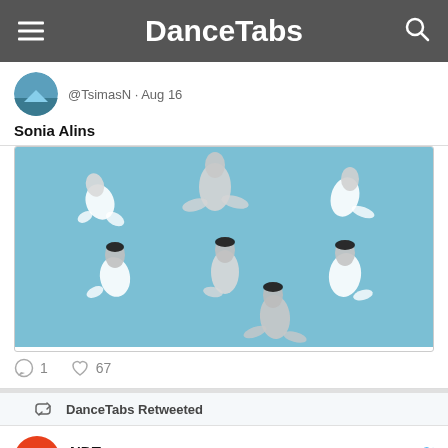DanceTabs
@TsimasN · Aug 16
Sonia Alins
[Figure (photo): Artwork showing stylized white dancing figures with black hair on a blue background, arranged in a circular/flowing composition]
1  67
DanceTabs Retweeted
NDT @NDTdance · Aug 19
We are very proud: according to the critics, one of top this #top3...